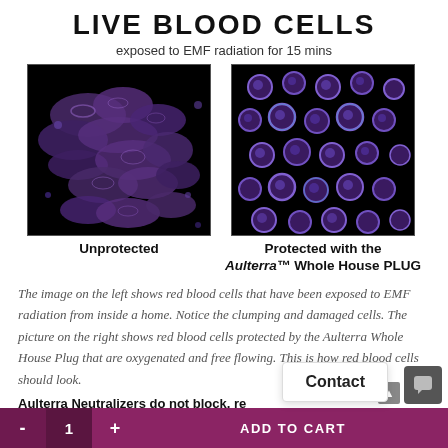LIVE BLOOD CELLS
exposed to EMF radiation for 15 mins
[Figure (photo): Microscope image of unprotected red blood cells exposed to EMF radiation - cells appear clumped and damaged on black background]
Unprotected
[Figure (photo): Microscope image of red blood cells protected with Aulterra Whole House PLUG - cells appear round, separate, oxygenated and free flowing on black background]
Protected with the Aulterra™ Whole House PLUG
The image on the left shows red blood cells that have been exposed to EMF radiation from inside a home. Notice the clumping and damaged cells. The picture on the right shows red blood cells protected by the Aulterra Whole House Plug that are oxygenated and free flowing. This is how red blood cells should look.
Aulterra Neutralizers do not block, re...
- 1 + ADD TO CART | Contact